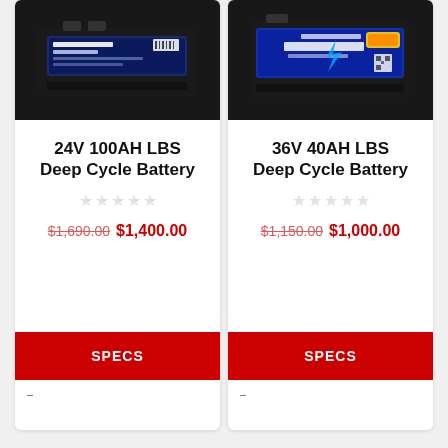[Figure (photo): Black lithium deep cycle battery with blue label showing 24V specifications]
24V 100AH LBS Deep Cycle Battery
★★★★★ (empty stars rating)
$1,690.00 $1,400.00
SPECS
[Figure (photo): Black lithium iron phosphate (LiFePO4) battery pack with blue label]
36V 40AH LBS Deep Cycle Battery
★★★★★ (empty stars rating)
$1,150.00 $1,000.00
SPECS